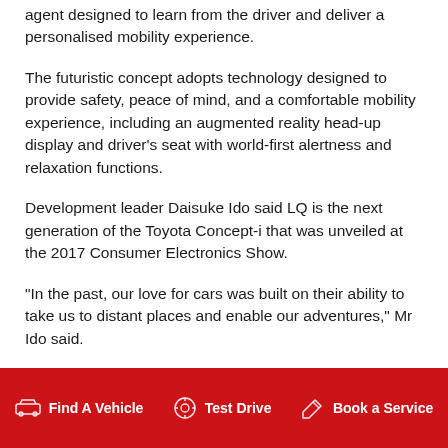agent designed to learn from the driver and deliver a personalised mobility experience.
The futuristic concept adopts technology designed to provide safety, peace of mind, and a comfortable mobility experience, including an augmented reality head-up display and driver's seat with world-first alertness and relaxation functions.
Development leader Daisuke Ido said LQ is the next generation of the Toyota Concept-i that was unveiled at the 2017 Consumer Electronics Show.
"In the past, our love for cars was built on their ability to take us to distant places and enable our adventures," Mr Ido said.
Find A Vehicle   Test Drive   Book a Service